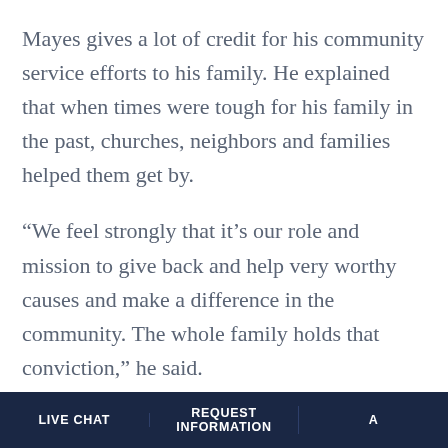Mayes gives a lot of credit for his community service efforts to his family. He explained that when times were tough for his family in the past, churches, neighbors and families helped them get by.
“We feel strongly that it’s our role and mission to give back and help very worthy causes and make a difference in the community. The whole family holds that conviction,” he said.
That conviction is evident as Columbia Southern University, a key employer in Baldwin County, has been a staunch supporter of area charities such as Toys for Tots, Feeding the Gulf Coast, back-to-school programs,
LIVE CHAT | REQUEST INFORMATION | A